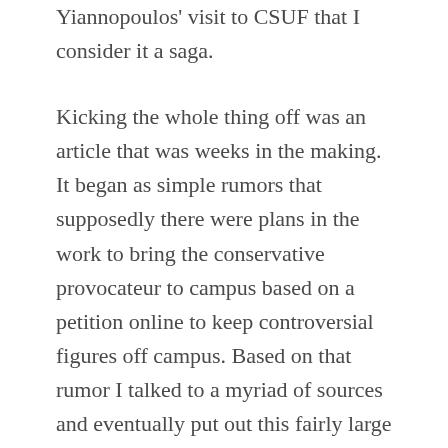Yiannopoulos' visit to CSUF that I consider it a saga.
Kicking the whole thing off was an article that was weeks in the making. It began as simple rumors that supposedly there were plans in the work to bring the conservative provocateur to campus based on a petition online to keep controversial figures off campus. Based on that rumor I talked to a myriad of sources and eventually put out this fairly large piece covering the entire process of how one can bring a speaker to campus in light of the confirmation that Yiannopoulos' visit was in the works.
And that isn't even going into all of the coverage of the Canin scandal from the semester prior that helped build my relations with the College Republicans Club enough to help them trust my reporting.
Even during that initial coverage I knew the plan was to bring the man to campus on Halloween. At the point this